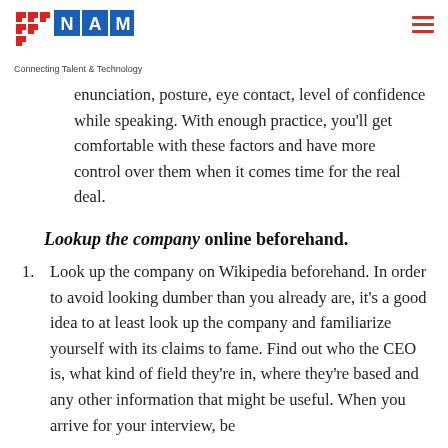NAM — Connecting Talent & Technology
enunciation, posture, eye contact, level of confidence while speaking. With enough practice, you'll get comfortable with these factors and have more control over them when it comes time for the real deal.
Lookup the company online beforehand.
Look up the company on Wikipedia beforehand. In order to avoid looking dumber than you already are, it's a good idea to at least look up the company and familiarize yourself with its claims to fame. Find out who the CEO is, what kind of field they're in, where they're based and any other information that might be useful. When you arrive for your interview, be